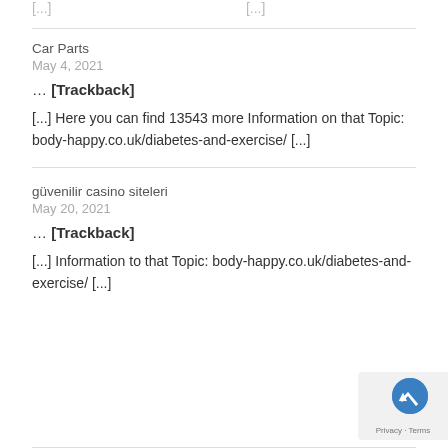[...] [...]
Car Parts
May 4, 2021
... [Trackback]
[...] Here you can find 13543 more Information on that Topic: body-happy.co.uk/diabetes-and-exercise/ [...]
güvenilir casino siteleri
May 20, 2021
... [Trackback]
[...] Information to that Topic: body-happy.co.uk/diabetes-and-exercise/ [...]